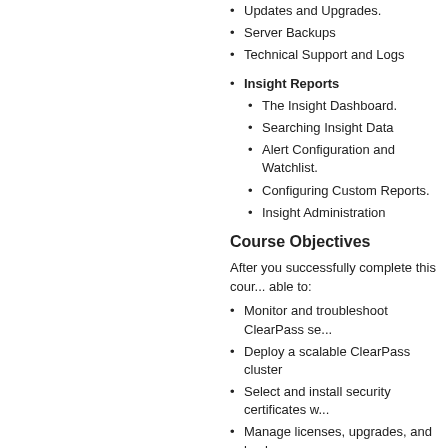Updates and Upgrades.
Server Backups
Technical Support and Logs
Insight Reports
The Insight Dashboard.
Searching Insight Data
Alert Configuration and Watchlist.
Configuring Custom Reports.
Insight Administration
Course Objectives
After you successfully complete this course, you will be able to:
Monitor and troubleshoot ClearPass se...
Deploy a scalable ClearPass cluster
Select and install security certificates w...
Manage licenses, upgrades, and backu... servers
Configure posture and health checks to... security of your network client's
Build enforcement based on effective h... results
Set up and manage an effective self-se... solution using ClearPass Onboard
Configure Administrative Access to Cle...